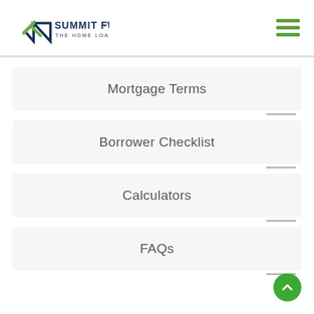[Figure (logo): Summit Funding Inc. logo — house/mountain outline with green accents, text 'SUMMIT FUNDING Inc.' and tagline 'THE HOME LOAN EXPERTS']
[Figure (other): Hamburger menu icon — three horizontal green bars]
Mortgage Terms
Borrower Checklist
Calculators
FAQs